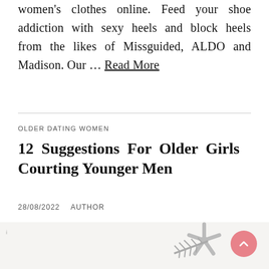women's clothes online. Feed your shoe addiction with sexy heels and block heels from the likes of Missguided, ALDO and Madison. Our … Read More
OLDER DATING WOMEN
12 Suggestions For Older Girls Courting Younger Men
28/08/2022   AUTHOR
[Figure (photo): Grayscale photo showing a decorative starfish or sea star object along with what appears to be pine branches or similar natural elements on a light background.]